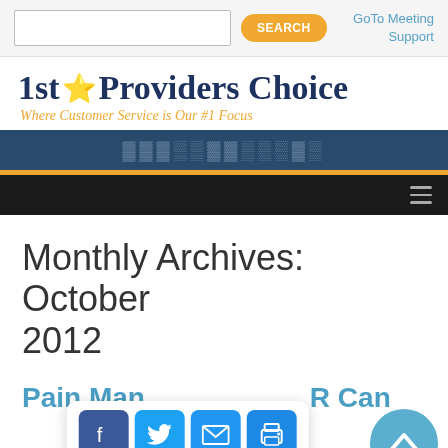SEARCH | GoTo Meeting Support
1st ★ Providers Choice — Where Customer Service is Our #1 Focus
[Figure (screenshot): Blue navigation bar with orange accent line and hamburger menu icon on black bar]
Monthly Archives: October 2012
Pain Management EMR Can
[Figure (infographic): Social share overlay with Facebook, Twitter, email, and print buttons, and a scroll-to-top circular button]